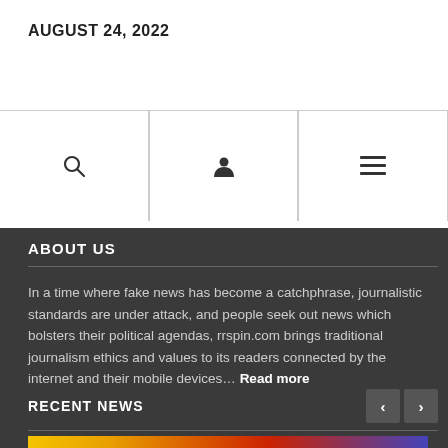AUGUST 24, 2022
[Figure (other): Navigation icon bar with search, user profile, and hamburger menu icons, divided by vertical lines]
ABOUT US
In a time where fake news has become a catchphrase, journalistic standards are under attack, and people seek out news which bolsters their political agendas, rrspin.com brings traditional journalism ethics and values to its readers connected by the internet and their mobile devices… Read more
RECENT NEWS
[Figure (photo): Bottom partial image showing police crime scene tape with colorful background of yellow, red and blue hues]